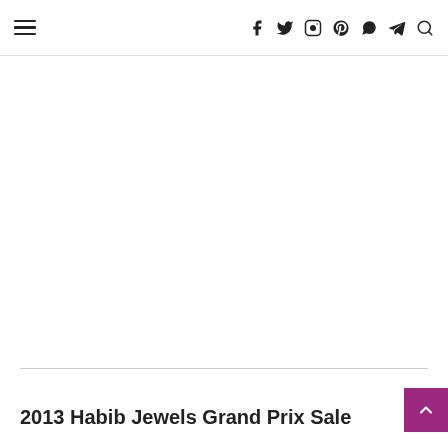≡  f  Twitter  Instagram  Pinterest  WhatsApp  Telegram  Search
2013 Habib Jewels Grand Prix Sale